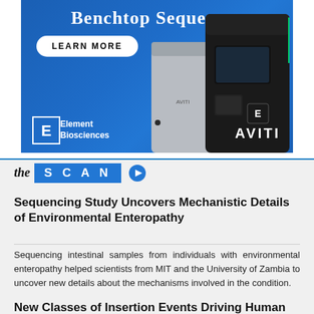[Figure (photo): Advertisement banner for Element Biosciences AVITI benchtop sequencer. Blue gradient background with white serif text reading 'Benchtop Sequencer', a white 'LEARN MORE' button, an image of the AVITI sequencer device (silver and black units), the Element Biosciences logo (white square bracket logo with company name), and the AVITI wordmark in white.]
the SCAN
Sequencing Study Uncovers Mechanistic Details of Environmental Enteropathy
Sequencing intestinal samples from individuals with environmental enteropathy helped scientists from MIT and the University of Zambia to uncover new details about the mechanisms involved in the condition.
New Classes of Insertion Events Driving Human